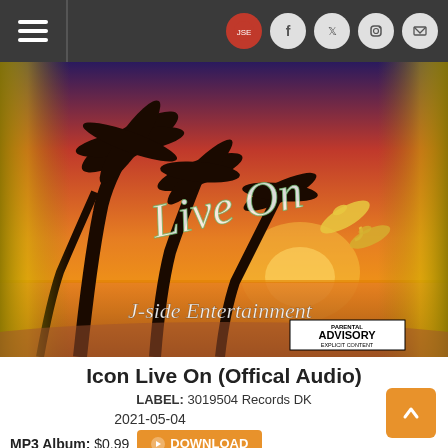Navigation header with hamburger menu and social icons (logo, Facebook, Twitter, Instagram, Mail)
[Figure (photo): Album cover art for 'Live On' by J-Side Entertainment. Tropical sunset scene with silhouetted palm trees, orange sky reflecting on water, two dolphins jumping, cursive 'Live On' text, 'J-side Entertainment' at bottom, and Parental Advisory Explicit Content label.]
Icon Live On (Offical Audio)
LABEL: 3019504 Records DK
2021-05-04
MP3 Album: $0.99
DOWNLOAD